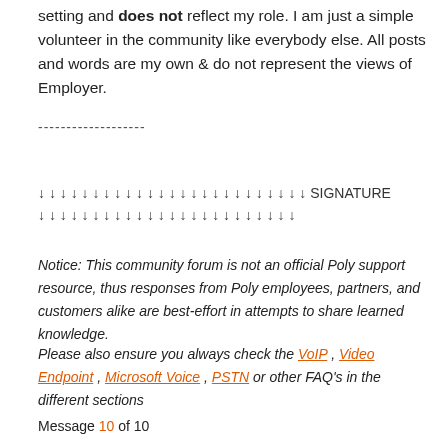setting and does not reflect my role. I am just a simple volunteer in the community like everybody else. All posts and words are my own & do not represent the views of Employer.
-------------------
↓ ↓ ↓ ↓ ↓ ↓ ↓ ↓ ↓ ↓ ↓ ↓ ↓ ↓ ↓ ↓ ↓ ↓ ↓ ↓ ↓ ↓ ↓ ↓ ↓ SIGNATURE
↓ ↓ ↓ ↓ ↓ ↓ ↓ ↓ ↓ ↓ ↓ ↓ ↓ ↓ ↓ ↓ ↓ ↓ ↓ ↓ ↓ ↓ ↓ ↓
Notice: This community forum is not an official Poly support resource, thus responses from Poly employees, partners, and customers alike are best-effort in attempts to share learned knowledge.
Please also ensure you always check the VoIP , Video Endpoint , Microsoft Voice , PSTN or other FAQ's in the different sections
Message 10 of 10